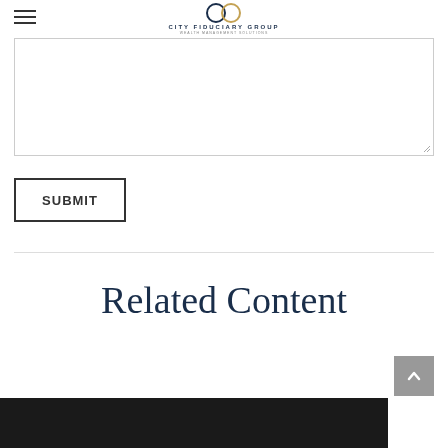City Fiduciary Group
[Figure (other): Text area input box with resize handle in bottom right corner]
SUBMIT
[Figure (illustration): Back to top button (gray square with upward chevron arrow)]
Related Content
[Figure (photo): Dark photograph strip at the bottom of the page]